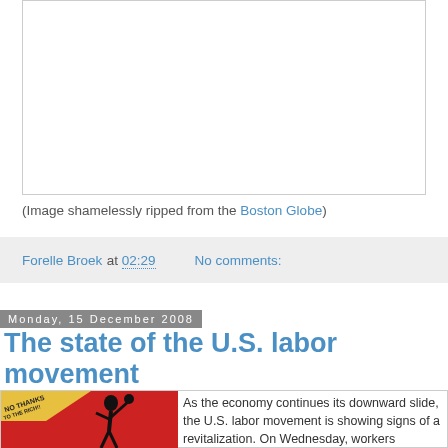[Figure (illustration): White rectangular image placeholder box with border]
(Image shamelessly ripped from the Boston Globe)
Forelle Broek at 02:29   No comments:
Monday, 15 December 2008
The state of the U.S. labor movement
[Figure (illustration): Labor movement propaganda poster showing worker with raised fist and text 'NO THANKS TO THE RICH!!']
As the economy continues its downward slide, the U.S. labor movement is showing signs of a revitalization. On Wednesday, workers represented by the United Electrical,